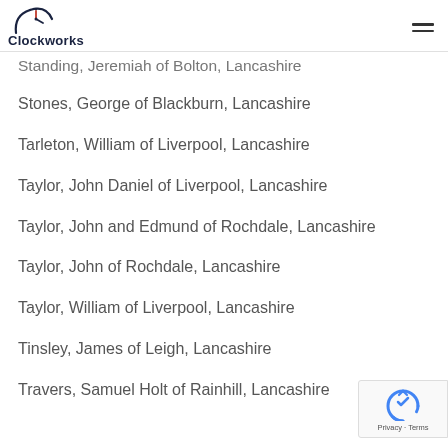Clockworks
Standing, Jeremiah of Bolton, Lancashire
Stones, George of Blackburn, Lancashire
Tarleton, William of Liverpool, Lancashire
Taylor, John Daniel of Liverpool, Lancashire
Taylor, John and Edmund of Rochdale, Lancashire
Taylor, John of Rochdale, Lancashire
Taylor, William of Liverpool, Lancashire
Tinsley, James of Leigh, Lancashire
Travers, Samuel Holt of Rainhill, Lancashire